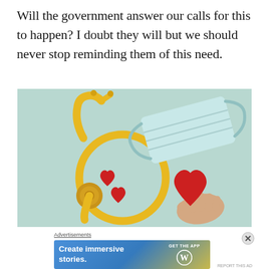Will the government answer our calls for this to happen? I doubt they will but we should never stop reminding them of this need.
[Figure (photo): Flat lay photo on light teal background showing a yellow stethoscope coiled in a circle, two small red chocolate hearts inside the coil, a light blue disposable face mask in the upper right, and a hand holding a larger red paper heart in the lower right.]
Advertisements
[Figure (other): Advertisement banner: gradient blue/yellow background with white bold text 'Create immersive stories.' on the left, and 'GET THE APP' with a WordPress logo circle on the right.]